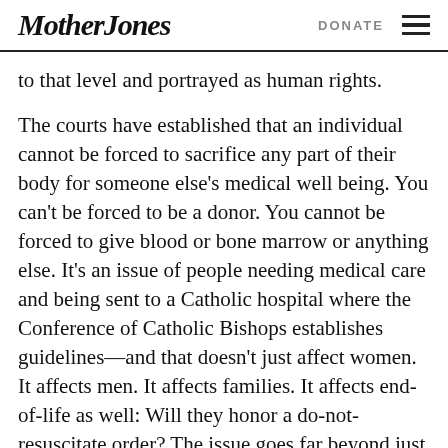Mother Jones  DONATE
to that level and portrayed as human rights.
The courts have established that an individual cannot be forced to sacrifice any part of their body for someone else's medical well being. You can't be forced to be a donor. You cannot be forced to give blood or bone marrow or anything else. It's an issue of people needing medical care and being sent to a Catholic hospital where the Conference of Catholic Bishops establishes guidelines—and that doesn't just affect women. It affects men. It affects families. It affects end-of-life as well: Will they honor a do-not-resuscitate order? The issue goes far beyond just abortion—this is a human rights issue. It's not as